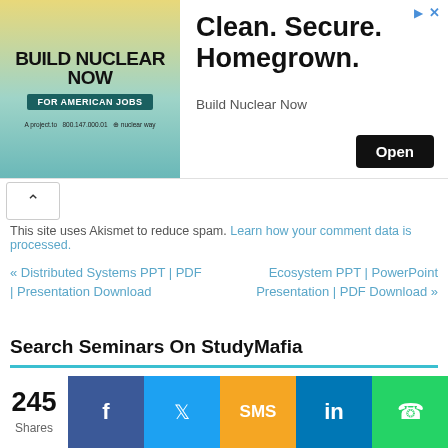[Figure (screenshot): Advertisement banner for 'Build Nuclear Now' campaign showing 'Clean. Secure. Homegrown.' headline with an Open button and Build Nuclear Now brand text]
This site uses Akismet to reduce spam. Learn how your comment data is processed.
« Distributed Systems PPT | PDF | Presentation Download
Ecosystem PPT | PowerPoint Presentation | PDF Download »
Search Seminars On StudyMafia
245 Shares